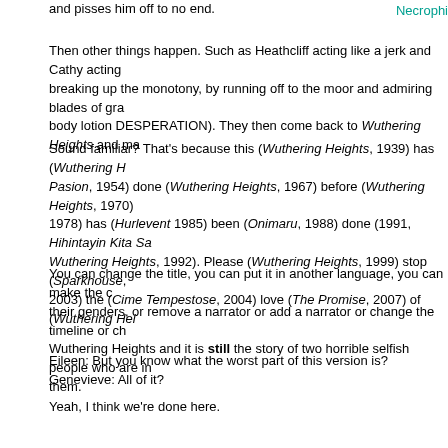and pisses him off to no end.
Necrophi...
Then other things happen. Such as Heathcliff acting like a jerk and Cathy acting breaking up the monotony, by running off to the moor and admiring blades of gra body lotion DESPERATION). They then come back to Wuthering Heights and ma
Sound familiar? That's because this (Wuthering Heights, 1939) has (Wuthering H Pasion, 1954) done (Wuthering Heights, 1967) before (Wuthering Heights, 1970) 1978) has (Hurlevent 1985) been (Onimaru, 1988) done (1991, Hihintayin Kita Sa Wuthering Heights, 1992). Please (Wuthering Heights, 1999) stop (Sparkhouse, 2003) the (Cime Tempestose, 2004) love (The Promise, 2007) of (Wuthering Hei
You can change the title, you can put it in another language, you can make the c their genders, or remove a narrator or add a narrator or change the timeline or c Wuthering Heights and it is still the story of two horrible selfish people who are i them.
Eileen: But you know what the worst part of this version is?
Genevieve: All of it?
Yeah, I think we're done here.
(Be sure to come back next month when Eileen reviews "Wuthering Heights on lo
Tom Hardy is famous now. There's hope for you yet!